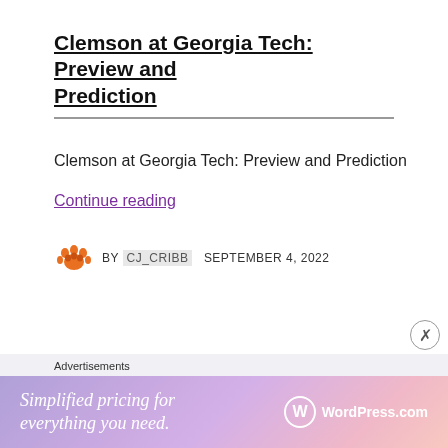Clemson at Georgia Tech: Preview and Prediction
Clemson at Georgia Tech: Preview and Prediction
Continue reading
BY CJ_CRIBB   SEPTEMBER 4, 2022
[Figure (other): WordPress.com advertisement banner: 'Simplified pricing for everything you need.' with WordPress.com logo]
Advertisements